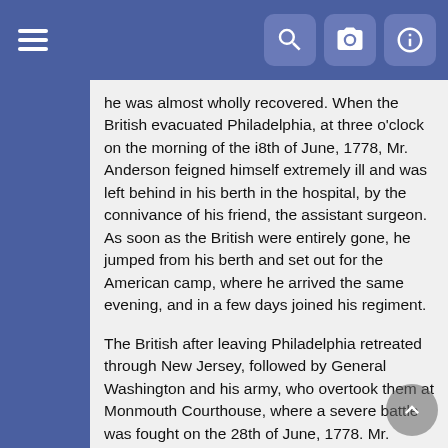Navigation bar with hamburger menu and search/camera/info icons
he was almost wholly recovered. When the British evacuated Philadelphia, at three o'clock on the morning of the i8th of June, 1778, Mr. Anderson feigned himself extremely ill and was left behind in his berth in the hospital, by the connivance of his friend, the assistant surgeon. As soon as the British were entirely gone, he jumped from his berth and set out for the American camp, where he arrived the same evening, and in a few days joined his regiment.
The British after leaving Philadelphia retreated through New Jersey, followed by General Washington and his army, who overtook them at Monmouth Courthouse, where a severe battle was fought on the 28th of June, 1778. Mr. Anderson often stated, that in this battle he discharged his rifle with aim thirty-two times. During the memorable contest for the occupancy of New Jersey, between the English and Continental troops, the regiment of which Mr. Anderson was a member, being a pioneer corps, was detailed on almost all occasions for very active and arduous service, and actually, as stated by Mr. Anderson, fought fourteen times in thirteen days, three of which were general battles. To those